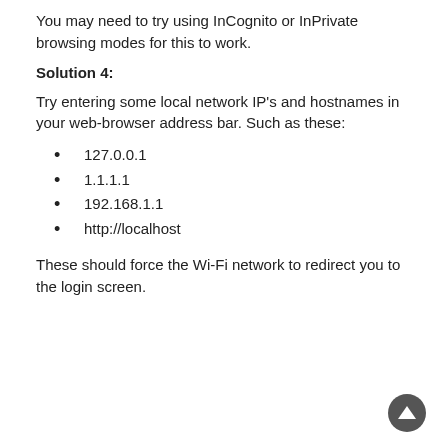You may need to try using InCognito or InPrivate browsing modes for this to work.
Solution 4:
Try entering some local network IP's and hostnames in your web-browser address bar. Such as these:
127.0.0.1
1.1.1.1
192.168.1.1
http://localhost
These should force the Wi-Fi network to redirect you to the login screen.